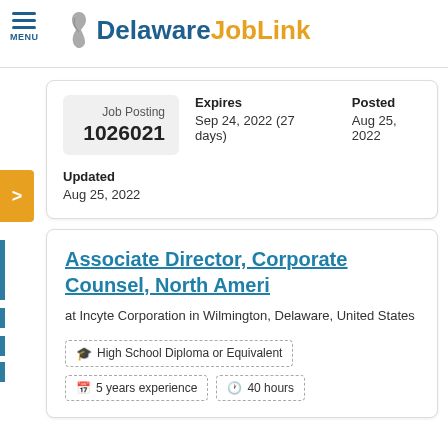Delaware JobLink
Job Posting 1026021
Expires: Sep 24, 2022 (27 days) | Posted: Aug 25, 2022 | Updated: Aug 25, 2022
Associate Director, Corporate Counsel, North Ameri
at Incyte Corporation in Wilmington, Delaware, United States
High School Diploma or Equivalent | 5 years experience | 40 hours